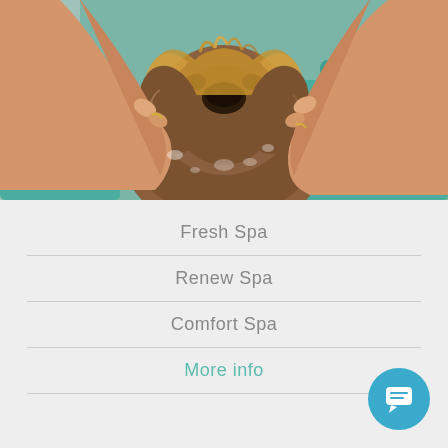[Figure (photo): A wet dog being bathed by human hands, close-up of the dog's face with a teal basin/tub in the background.]
Fresh Spa
Renew Spa
Comfort Spa
More info